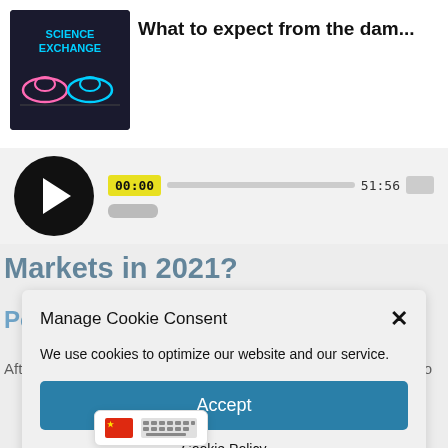[Figure (screenshot): Podcast thumbnail for Science Exchange with neon animal graphics on dark background]
What to expect from the dam...
[Figure (screenshot): Audio player with play button, time 00:00, progress bar, and total time 51:56]
Manage Cookie Consent
We use cookies to optimize our website and our service.
Accept
Cookie Policy
Markets in 2021?
Podcast Topic
After m... 2020, it's time to look ahead to what to
[Figure (screenshot): Language tooltip showing Chinese flag and keyboard icon]